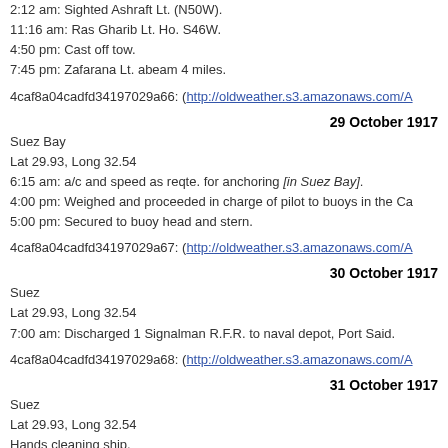2:12 am: Sighted Ashraft Lt. (N50W).
11:16 am: Ras Gharib Lt. Ho. S46W.
4:50 pm: Cast off tow.
7:45 pm: Zafarana Lt. abeam 4 miles.
4caf8a04cadfd34197029a66: (http://oldweather.s3.amazonaws.com/A
29 October 1917
Suez Bay
Lat 29.93, Long 32.54
6:15 am: a/c and speed as reqte. for anchoring [in Suez Bay].
4:00 pm: Weighed and proceeded in charge of pilot to buoys in the Ca
5:00 pm: Secured to buoy head and stern.
4caf8a04cadfd34197029a67: (http://oldweather.s3.amazonaws.com/A
30 October 1917
Suez
Lat 29.93, Long 32.54
7:00 am: Discharged 1 Signalman R.F.R. to naval depot, Port Said.
4caf8a04cadfd34197029a68: (http://oldweather.s3.amazonaws.com/A
31 October 1917
Suez
Lat 29.93, Long 32.54
Hands cleaning ship.
4caf8a04cadfd34197029a69: (http://oldweather.s3.amazonaws.com/A
4caf8a04cadfd34197029a6a: (http://oldweather.s3.amazonaws.com/A
4caf8a05cadfd34197029a6b: (http://oldweather.s3.amazonaws.com/A